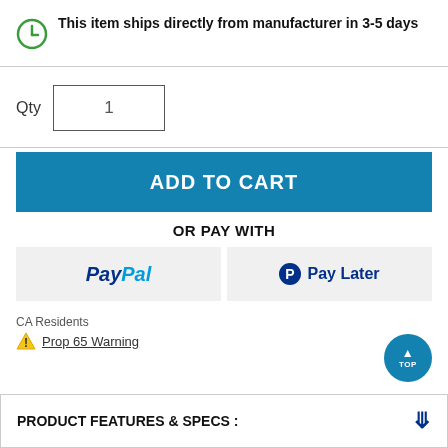This item ships directly from manufacturer in 3-5 days
Qty  1
ADD TO CART
OR PAY WITH
[Figure (logo): PayPal logo button]
[Figure (logo): PayPal Pay Later button]
CA Residents
Prop 65 Warning
PRODUCT FEATURES & SPECS :